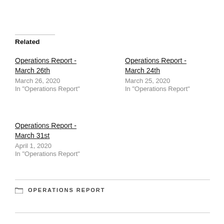Related
Operations Report - March 26th
March 26, 2020
In "Operations Report"
Operations Report - March 24th
March 25, 2020
In "Operations Report"
Operations Report - March 31st
April 1, 2020
In "Operations Report"
OPERATIONS REPORT